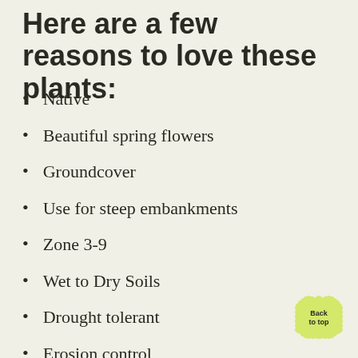Here are a few reasons to love these plants:
Native
Beautiful spring flowers
Groundcover
Use for steep embankments
Zone 3-9
Wet to Dry Soils
Drought tolerant
Erosion control